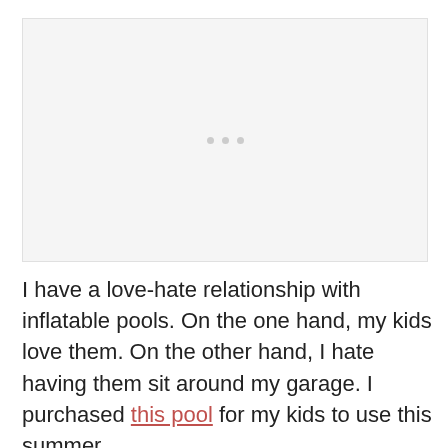[Figure (other): Placeholder image area with three small grey dots centered, representing a loading or missing image.]
I have a love-hate relationship with inflatable pools. On the one hand, my kids love them. On the other hand, I hate having them sit around my garage. I purchased this pool for my kids to use this summer.